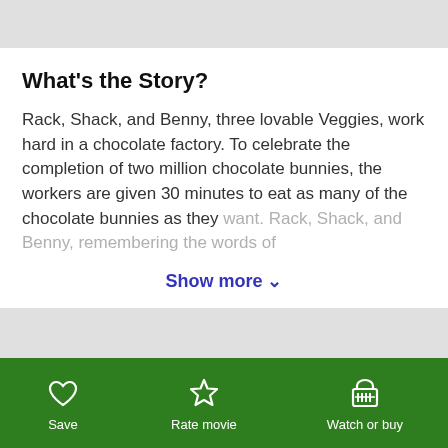What's the Story?
Rack, Shack, and Benny, three lovable Veggies, work hard in a chocolate factory. To celebrate the completion of two million chocolate bunnies, the workers are given 30 minutes to eat as many of the chocolate bunnies as they want. Rack, Shack, and Benny, remembering the words of
Show more ∨
Is It Any Good?
Save  Rate movie  Watch or buy